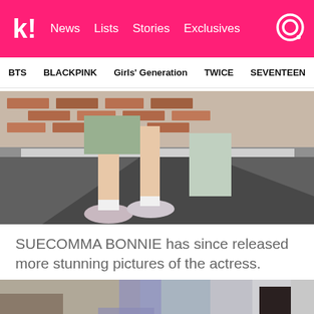k! News  Lists  Stories  Exclusives
BTS  BLACKPINK  Girls' Generation  TWICE  SEVENTEEN
[Figure (photo): Close-up photo of a person's legs walking on a street, wearing chunky sneakers and a sage green outfit, with brick wall in background]
SUECOMMA BONNIE has since released more stunning pictures of the actress.
[Figure (photo): Photo of a Korean actress with long dark hair, looking sideways, outdoors with blurred background]